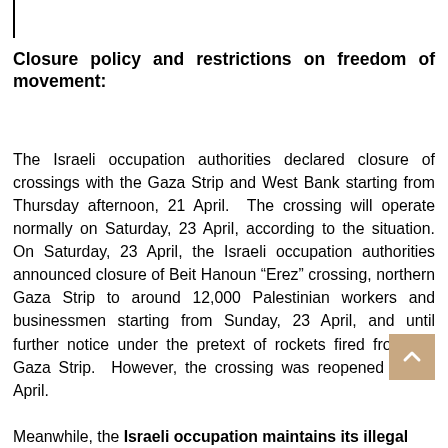Closure policy and restrictions on freedom of movement:
The Israeli occupation authorities declared closure of crossings with the Gaza Strip and West Bank starting from Thursday afternoon, 21 April. The crossing will operate normally on Saturday, 23 April, according to the situation. On Saturday, 23 April, the Israeli occupation authorities announced closure of Beit Hanoun “Erez” crossing, northern Gaza Strip to around 12,000 Palestinian workers and businessmen starting from Sunday, 23 April, and until further notice under the pretext of rockets fired from the Gaza Strip. However, the crossing was reopened on 26 April.
Meanwhile, the Israeli occupation maintains its illegal